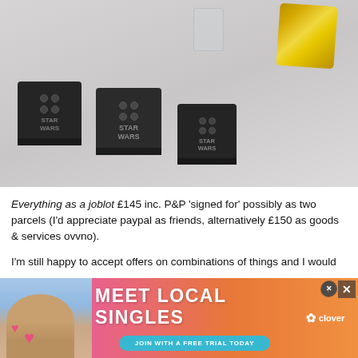[Figure (photo): Three dark/black LEGO Star Wars tile pieces laid on a light grey surface, along with a clear plastic bag and gold foil packaging in the background]
Everything as a joblot £145 inc. P&P 'signed for' possibly as two parcels (I'd appreciate paypal as friends, alternatively £150 as goods & services ovvno).
I'm still happy to accept offers on combinations of things and I would
[Figure (other): Advertisement banner: MEET LOCAL SINGLES - JOIN WITH A FREE TRIAL TODAY - clover app. Shows a woman and pink/orange gradient background with close buttons.]